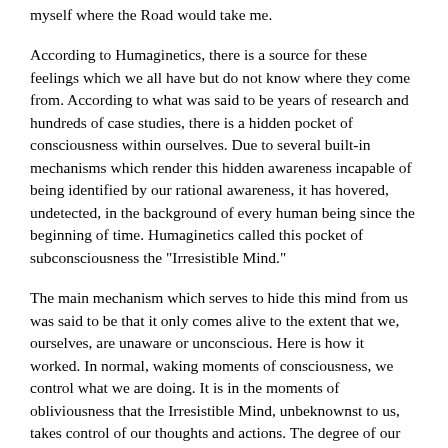myself where the Road would take me.
According to Humaginetics, there is a source for these feelings which we all have but do not know where they come from. According to what was said to be years of research and hundreds of case studies, there is a hidden pocket of consciousness within ourselves. Due to several built-in mechanisms which render this hidden awareness incapable of being identified by our rational awareness, it has hovered, undetected, in the background of every human being since the beginning of time. Humaginetics called this pocket of subconsciousness the "Irresistible Mind."
The main mechanism which serves to hide this mind from us was said to be that it only comes alive to the extent that we, ourselves, are unaware or unconscious. Here is how it worked. In normal, waking moments of consciousness, we control what we are doing. It is in the moments of obliviousness that the Irresistible Mind, unbeknownst to us, takes control of our thoughts and actions. The degree of our own unawareness was proportional to the degree of irresistible control.
That is why we cannot see and thus are not aware of